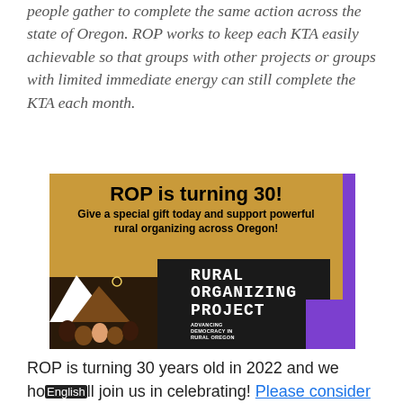people gather to complete the same action across the state of Oregon. ROP works to keep each KTA easily achievable so that groups with other projects or groups with limited immediate energy can still complete the KTA each month.
[Figure (illustration): Advertisement banner: golden/tan background with purple accent bars. Title 'ROP is turning 30!' in bold black. Subtitle 'Give a special gift today and support powerful rural organizing across Oregon!' Below: illustration of fists raised in solidarity on left side, and Rural Organizing Project logo on dark background on right side reading 'RURAL ORGANIZING PROJECT' with tagline 'ADVANCING DEMOCRACY IN RURAL OREGON'.]
ROP is turning 30 years old in 2022 and we hope you'll join us in celebrating! Please consider giving a special gift today in honor of this